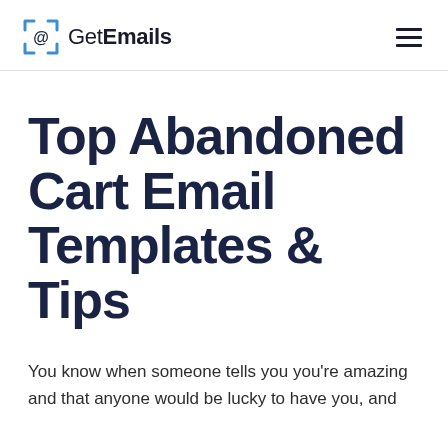GetEmails
Top Abandoned Cart Email Templates & Tips
You know when someone tells you you're amazing and that anyone would be lucky to have you, and